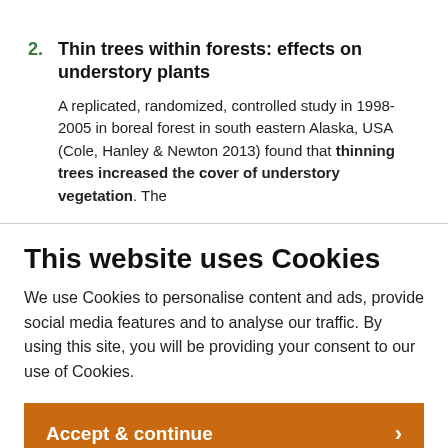2. Thin trees within forests: effects on understory plants
A replicated, randomized, controlled study in 1998-2005 in boreal forest in south eastern Alaska, USA (Cole, Hanley & Newton 2013) found that thinning trees increased the cover of understory vegetation. The
This website uses Cookies
We use Cookies to personalise content and ads, provide social media features and to analyse our traffic. By using this site, you will be providing your consent to our use of Cookies.
Accept & continue